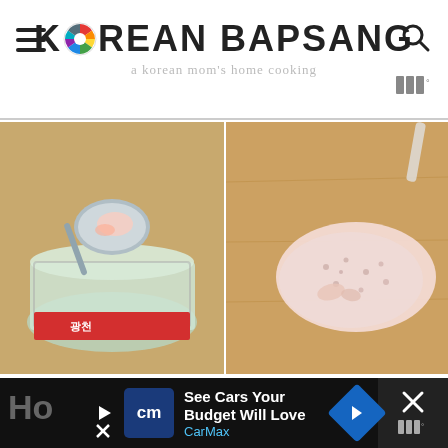KOREAN BAPSANG — a korean mom's home cooking
[Figure (photo): Left: A glass jar of Korean salted fermented shrimp (saeujeot) with a measuring spoon scooping some shrimp out. The jar has a red label with Korean text. Right: Salted shrimp spread out on a wooden cutting board, coarsely ground/chopped with visible texture.]
See Cars Your Budget Will Love
CarMax